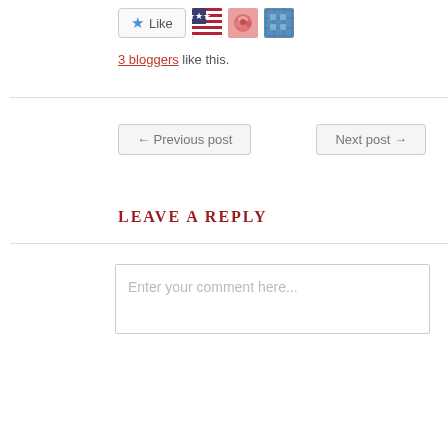[Figure (screenshot): Like button with star icon and three blogger avatar thumbnails (US flag, pink rose, blue grid pattern)]
3 bloggers like this.
← Previous post
Next post →
LEAVE A REPLY
Enter your comment here...